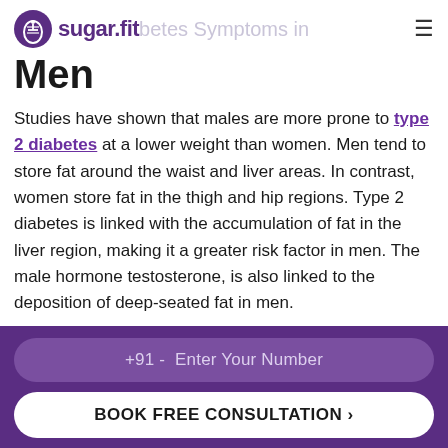sugar.fit | Diabetes Symptoms in Men
Men
Studies have shown that males are more prone to type 2 diabetes at a lower weight than women. Men tend to store fat around the waist and liver areas. In contrast, women store fat in the thigh and hip regions. Type 2 diabetes is linked with the accumulation of fat in the liver region, making it a greater risk factor in men. The male hormone testosterone, is also linked to the deposition of deep-seated fat in men.
Most of the signs of type 2 diabetes in men are similar
+91 - Enter Your Number
BOOK FREE CONSULTATION >